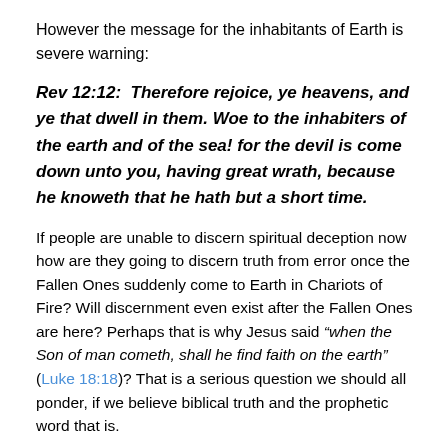However the message for the inhabitants of Earth is severe warning:
Rev 12:12: Therefore rejoice, ye heavens, and ye that dwell in them. Woe to the inhabiters of the earth and of the sea! for the devil is come down unto you, having great wrath, because he knoweth that he hath but a short time.
If people are unable to discern spiritual deception now how are they going to discern truth from error once the Fallen Ones suddenly come to Earth in Chariots of Fire? Will discernment even exist after the Fallen Ones are here? Perhaps that is why Jesus said “when the Son of man cometh, shall he find faith on the earth” (Luke 18:18)? That is a serious question we should all ponder, if we believe biblical truth and the prophetic word that is.